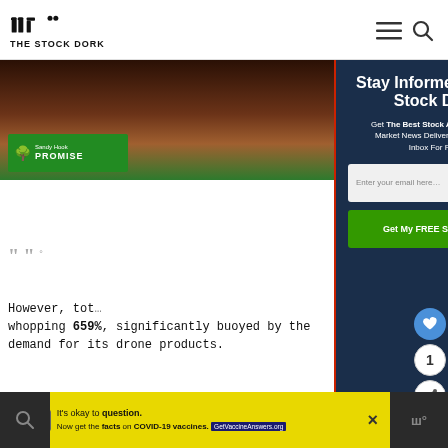THE STOCK DORK
[Figure (screenshot): Sandy Hook Promise advertisement thumbnail image with brown/green background]
[Figure (infographic): Newsletter signup modal overlay on dark navy background: 'Stay Informed With The Stock Dork - Get The Best Stock Alerts Plus Breaking Market News Delivered Directly To Your Inbox For Free!' with email input field and green CTA button 'Get My FREE Stock Alerts']
However, tot… whopping 659%, significantly buoyed by the demand for its drone products.
[Figure (infographic): Bottom advertisement bar: 'It's okay to question. Now get the facts on COVID-19 vaccines. GetVaccineAnswers.org']